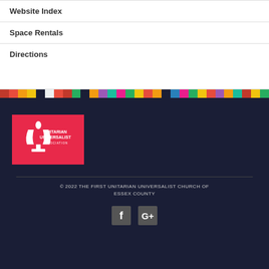Website Index
Space Rentals
Directions
[Figure (logo): Unitarian Universalist Association logo - white chalice symbol on red background with text UNITARIAN UNIVERSALIST ASSOCIATION]
© 2022 THE FIRST UNITARIAN UNIVERSALIST CHURCH OF ESSEX COUNTY